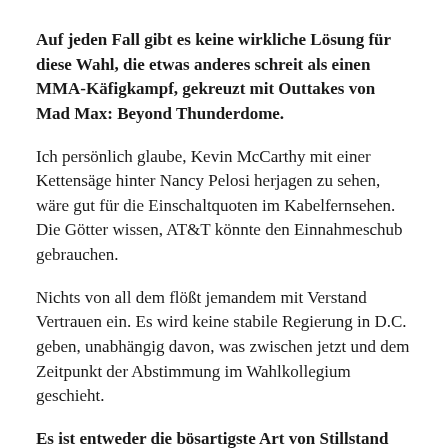Auf jeden Fall gibt es keine wirkliche Lösung für diese Wahl, die etwas anderes schreit als einen MMA-Käfigkampf, gekreuzt mit Outtakes von Mad Max: Beyond Thunderdome.
Ich persönlich glaube, Kevin McCarthy mit einer Kettensäge hinter Nancy Pelosi herjagen zu sehen, wäre gut für die Einschaltquoten im Kabelfernsehen. Die Götter wissen, AT&T könnte den Einnahmeschub gebrauchen.
Nichts von all dem flößt jemandem mit Verstand Vertrauen ein. Es wird keine stabile Regierung in D.C. geben, unabhängig davon, was zwischen jetzt und dem Zeitpunkt der Abstimmung im Wahlkollegium geschieht.
Es ist entweder die bösartigste Art von Stillstand oder drakonische Machtspiele, die zu einem Zusammenbruch der Union bis zu den Wahlen 2022 führen.